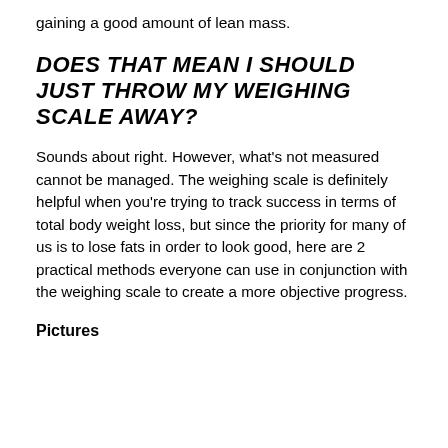gaining a good amount of lean mass.
Does that mean I should just throw my weighing scale away?
Sounds about right. However, what's not measured cannot be managed. The weighing scale is definitely helpful when you're trying to track success in terms of total body weight loss, but since the priority for many of us is to lose fats in order to look good, here are 2 practical methods everyone can use in conjunction with the weighing scale to create a more objective progress.
Pictures